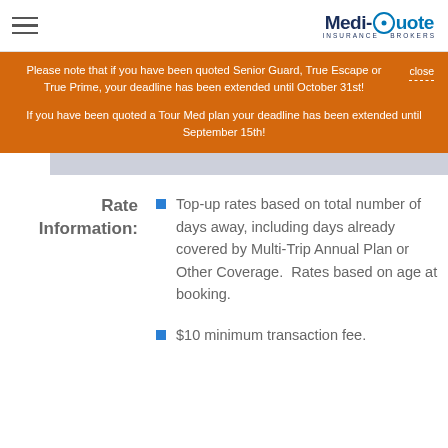Medi-Quote Insurance Brokers
Please note that if you have been quoted Senior Guard, True Escape or True Prime, your deadline has been extended until October 31st!

If you have been quoted a Tour Med plan your deadline has been extended until September 15th!
Rate Information:
Top-up rates based on total number of days away, including days already covered by Multi-Trip Annual Plan or Other Coverage.  Rates based on age at booking.
$10 minimum transaction fee.